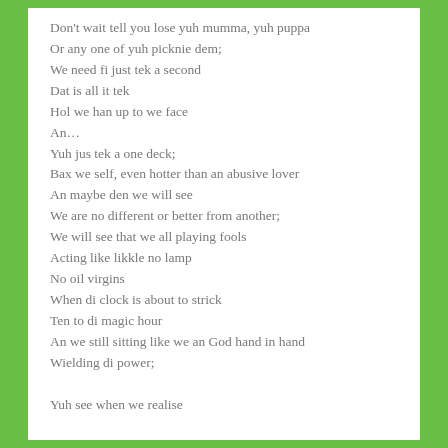Don't wait tell you lose yuh mumma, yuh puppa
Or any one of yuh picknie dem;
We need fi just tek a second
Dat is all it tek
Hol we han up to we face
An…
Yuh jus tek a one deck;
Bax we self, even hotter than an abusive lover
An maybe den we will see
We are no different or better from another;
We will see that we all playing fools
Acting like likkle no lamp
No oil virgins
When di clock is about to strick
Ten to di magic hour
An we still sitting like we an God hand in hand
Wielding di power;

Yuh see when we realise